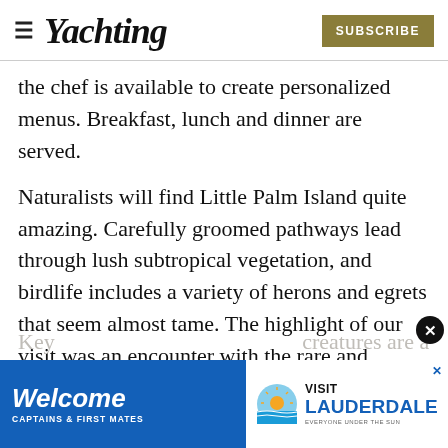Yachting | SUBSCRIBE
the chef is available to create personalized menus. Breakfast, lunch and dinner are served.
Naturalists will find Little Palm Island quite amazing. Carefully groomed pathways lead through lush subtropical vegetation, and birdlife includes a variety of herons and egrets that seem almost tame. The highlight of our visit was an encounter with the rare and endangered
Key creatures are a fraction of the size of
[Figure (screenshot): Advertisement banner: 'Welcome Captains & First Mates' with Visit Lauderdale logo on blue background]